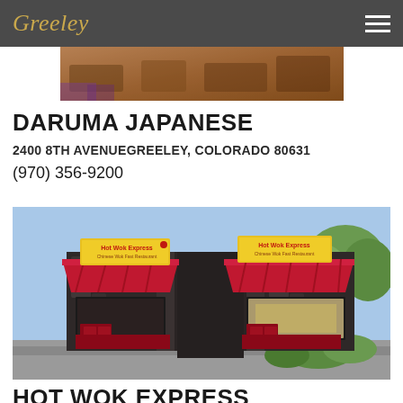Greeley
[Figure (photo): Partial photo of a restaurant interior, cropped at top]
DARUMA JAPANESE
2400 8TH AVENUEGREELEY, COLORADO 80631
(970) 356-9200
[Figure (photo): Exterior photo of Hot Wok Express restaurant with dark stone facade, red metal awnings, and yellow signage]
HOT WOK EXPRESS